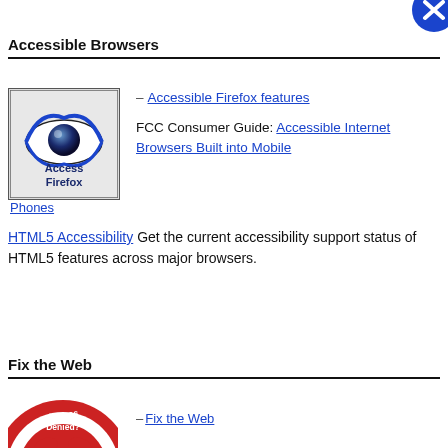[Figure (logo): Blue circle with white X icon in top right corner]
Accessible Browsers
[Figure (logo): Access Firefox logo: stylized eye with dark pupil and blue swoosh, text 'Access Firefox' below]
– Accessible Firefox features
FCC Consumer Guide: Accessible Internet Browsers Built into Mobile Phones
HTML5 Accessibility Get the current accessibility support status of HTML5 features across major browsers.
Fix the Web
[Figure (logo): Access Denied? badge logo — circular red and white badge with text 'Access Denied?' and hands]
– Fix the Web